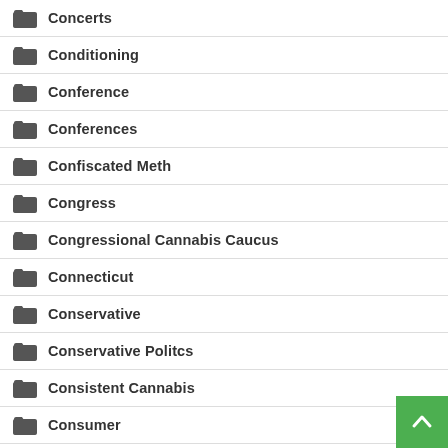Concerts
Conditioning
Conference
Conferences
Confiscated Meth
Congress
Congressional Cannabis Caucus
Connecticut
Conservative
Conservative Politcs
Consistent Cannabis
Consumer